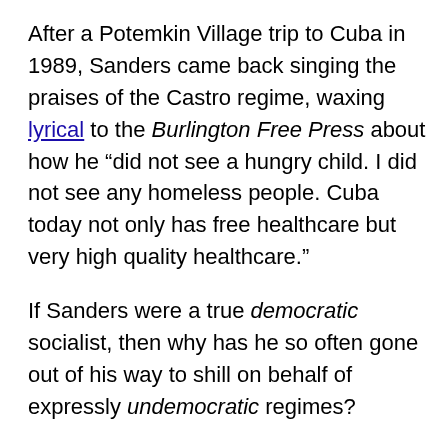After a Potemkin Village trip to Cuba in 1989, Sanders came back singing the praises of the Castro regime, waxing lyrical to the Burlington Free Press about how he “did not see a hungry child. I did not see any homeless people. Cuba today not only has free healthcare but very high quality healthcare.”
If Sanders were a true democratic socialist, then why has he so often gone out of his way to shill on behalf of expressly undemocratic regimes?
Talk about Sanders’ affection for communists and you will immediately be accused of “red-baiting.” But some of the greatest anti-communists were Social Democrats, whose anti-communism was borne of real struggle, having been, in many countries, the first victims of communist oppression. Bernie Sanders, unfortunately, does not come from the anti-authoritarian tradition of